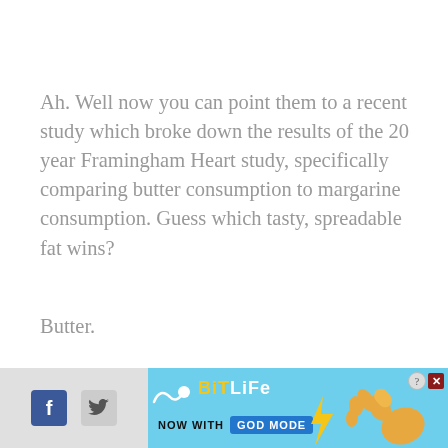Ah. Well now you can point them to a recent study which broke down the results of the 20 year Framingham Heart study, specifically comparing butter consumption to margarine consumption. Guess which tasty, spreadable fat wins?
Butter.
From Stephen at Whole Health Source:
[Figure (screenshot): Advertisement banner for BitLife game - 'NOW WITH GOD MODE' on blue background with social media buttons (Facebook, Twitter) on the left side]